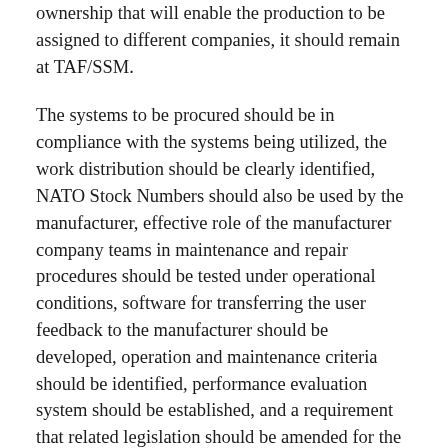ownership that will enable the production to be assigned to different companies, it should remain at TAF/SSM.
The systems to be procured should be in compliance with the systems being utilized, the work distribution should be clearly identified, NATO Stock Numbers should also be used by the manufacturer, effective role of the manufacturer company teams in maintenance and repair procedures should be tested under operational conditions, software for transferring the user feedback to the manufacturer should be developed, operation and maintenance criteria should be identified, performance evaluation system should be established, and a requirement that related legislation should be amended for the manufacturer's maintenance support in cross-border operations.
Life Cycle Management Analyses should be